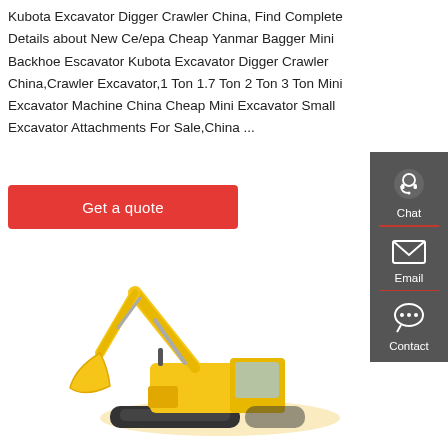Kubota Excavator Digger Crawler China, Find Complete Details about New Ce/epa Cheap Yanmar Bagger Mini Backhoe Escavator Kubota Excavator Digger Crawler China,Crawler Excavator,1 Ton 1.7 Ton 2 Ton 3 Ton Mini Excavator Machine China Cheap Mini Excavator Small Excavator Attachments For Sale,China ...
[Figure (screenshot): Red button labeled 'Get a quote']
[Figure (screenshot): Dark grey sidebar panel with Chat (headset icon), Email (envelope icon), and Contact (speech bubble icon) sections separated by red dividers]
[Figure (photo): Yellow crawler excavator (Longking brand) with boom arm extended, shown on white background]